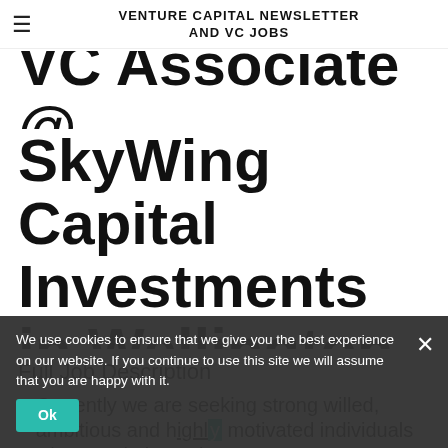VENTURE CAPITAL NEWSLETTER AND VC JOBS
VC Associate @ SkyWing Capital Investments in Wellington, FL
Full Job Description
Currently we are seeking strong willed, ambitious and highly motivated individuals who are aiming to become